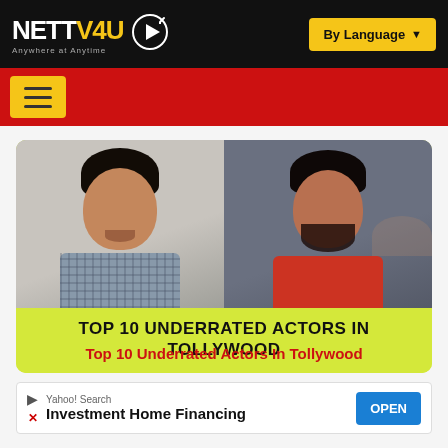NETTV4U — Anywhere at Anytime | By Language
[Figure (photo): Two men side by side: left man smiling wearing checkered shirt (light background), right man with beard wearing red shirt (blurred audience background). Yellow-green banner overlay: TOP 10 UNDERRATED ACTORS IN TOLLYWOOD]
Top 10 Underrated Actors In Tollywood
Yahoo! Search — Investment Home Financing — OPEN